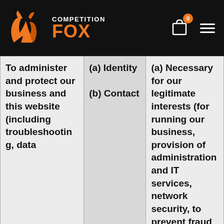[Figure (logo): Competition Fox logo with orange fox flame graphic and orange FOX text on black header bar, with shopping cart icon showing badge '0' and hamburger menu icon]
| Purpose/Activity | Type of data | Lawful basis for processing |
| --- | --- | --- |
| To administer and protect our business and this website (including troubleshooting, data | (a) Identity
(b) Contact | (a) Necessary for our legitimate interests (for running our business, provision of administration and IT services, network security, to prevent fraud and in the |